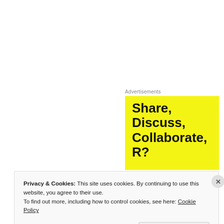Advertisements
[Figure (illustration): Yellow advertisement banner with bold black text reading 'Share, Discuss, Collaborate, R?' (partially visible) on a bright yellow background.]
Got a mango recipe you like, send it over, we would love to give it a try.
Privacy & Cookies: This site uses cookies. By continuing to use this website, you agree to their use.
To find out more, including how to control cookies, see here: Cookie Policy
Close and accept